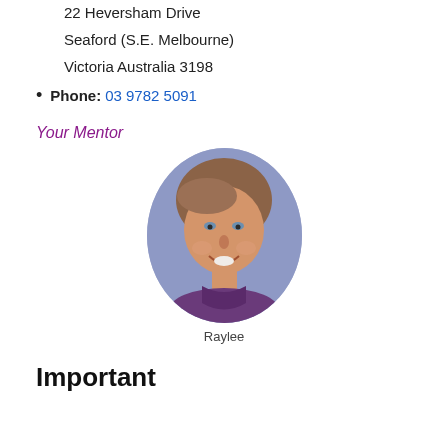22 Heversham Drive
Seaford (S.E. Melbourne)
Victoria Australia 3198
Phone: 03 9782 5091
Your Mentor
[Figure (photo): Oval portrait photo of a woman named Raylee, smiling, wearing a purple top, against a blue-grey background.]
Raylee
Important